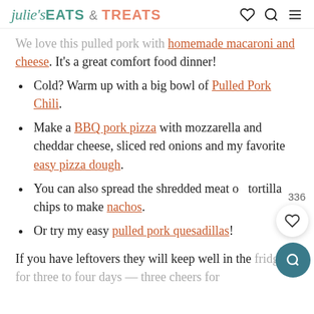julie's EATS & TREATS
We love this pulled pork with homemade macaroni and cheese. It's a great comfort food dinner!
Cold? Warm up with a big bowl of Pulled Pork Chili.
Make a BBQ pork pizza with mozzarella and cheddar cheese, sliced red onions and my favorite easy pizza dough.
You can also spread the shredded meat on tortilla chips to make nachos.
Or try my easy pulled pork quesadillas!
If you have leftovers they will keep well in the fridge for three to four days — three cheers for...